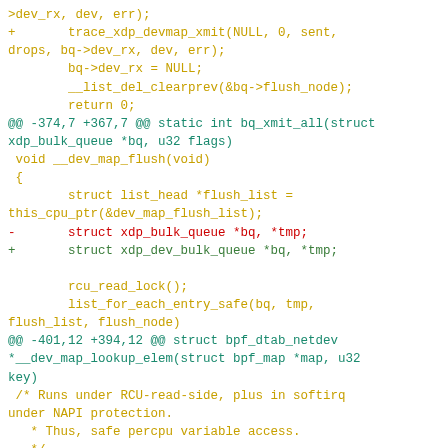Code diff showing changes to xdp device map bulk queue structures and functions